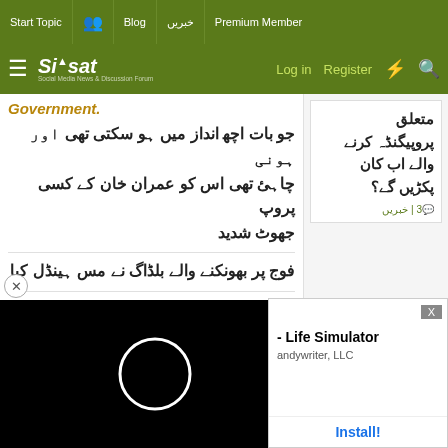Start Topic | Blog | خبریں | Premium Member
Siasat.pk — Log in | Register
Government. (in italic bold green/gold)
جو بات اچھ انداز میں ہو سکتی تھی اور ہونی چاہئ تھی اس کو عمران خان کے کسی پروپ جھوٹ شدید
فوج پر بھونکنے والے بلڈاگ نے مس ہینڈل کیا
اور عمران خان کو غلط پش پڑھائی اور صحیح بات بھی غلط
[Figure (screenshot): Black video player with white circular loading spinner]
متعلق پروپیگنڈہ کرنے والے اب کان پکڑیں گے؟
خبریں | 3
Life Simulator — andywriter, LLC — Install!